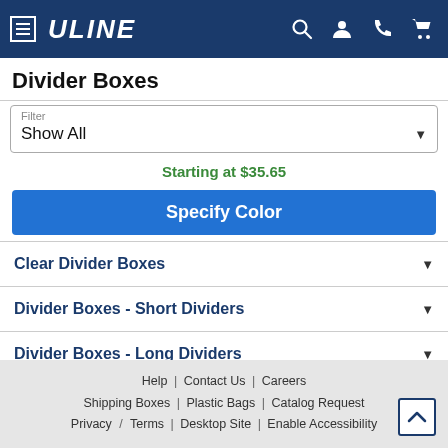ULINE
Divider Boxes
Filter: Show All
Starting at $35.65
Specify Color
Clear Divider Boxes
Divider Boxes - Short Dividers
Divider Boxes - Long Dividers
Divider Box Lids
Help | Contact Us | Careers
Shipping Boxes | Plastic Bags | Catalog Request
Privacy / Terms | Desktop Site | Enable Accessibility